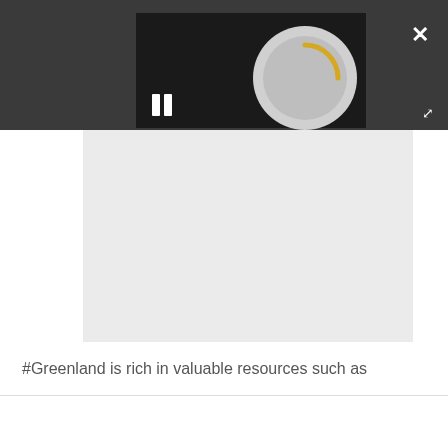[Figure (screenshot): Media player toolbar with dark background showing a PLAY SOUND button with speaker icon, a loading spinner (circular arrow in yellow/gold), and a pause button (two vertical bars). A close (×) button is in the top-right and an expand/fullscreen button in the bottom-right.]
[Figure (screenshot): Light gray rectangular video placeholder area below the toolbar, representing a loading video frame.]
#Greenland is rich in valuable resources such as